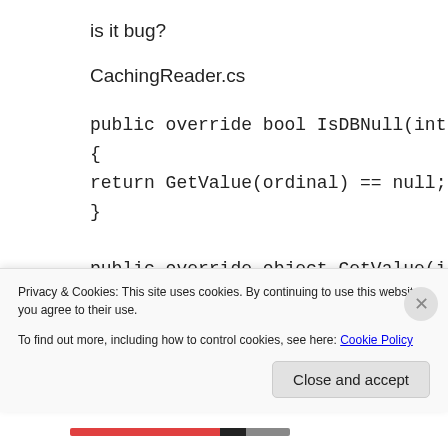is it bug?
CachingReader.cs
public override bool IsDBNull(int ordinal)
{
return GetValue(ordinal) == null;
}

public override object GetValue(int ordinal)
{
EnsureReading();
Privacy & Cookies: This site uses cookies. By continuing to use this website, you agree to their use.
To find out more, including how to control cookies, see here: Cookie Policy
Close and accept